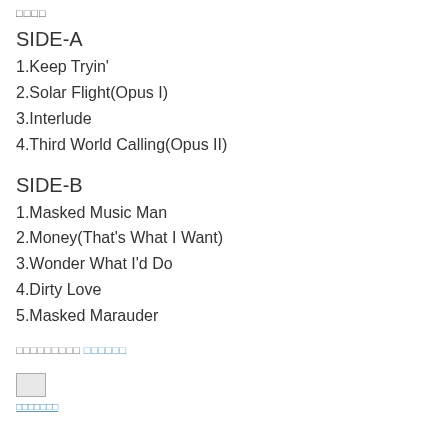□□□□
SIDE-A
1.Keep Tryin'
2.Solar Flight(Opus I)
3.Interlude
4.Third World Calling(Opus II)
SIDE-B
1.Masked Music Man
2.Money(That's What I Want)
3.Wonder What I'd Do
4.Dirty Love
5.Masked Marauder
□□□□□□□□□ □□□□□□
[Figure (photo): Small image thumbnail placeholder]
□□□□□□□